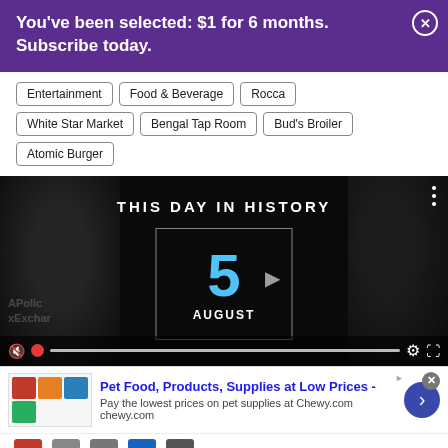You've been selected: $1 for 6 months. Subscribe today.
Entertainment
Food & Beverage
Rocca
White Star Market
Bengal Tap Room
Bud's Broiler
Atomic Burger
[Figure (screenshot): This Day In History video thumbnail showing the number 5 in blue and AUGUST below it, overlaid on dark grayscale faces, with video controls at bottom.]
Pet Food, Products, Supplies at Low Prices -
Pay the lowest prices on pet supplies at Chewy.com
chewy.com